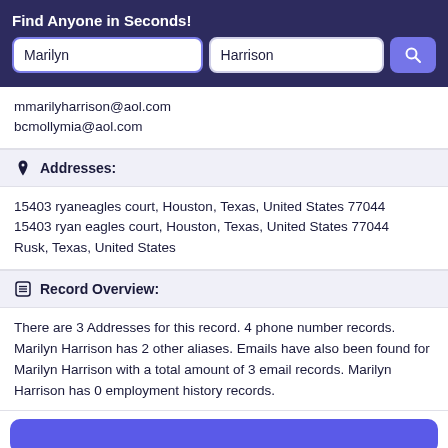Find Anyone in Seconds!
mmarilyharrison@aol.com
bcmollymia@aol.com
Addresses:
15403 ryaneagles court, Houston, Texas, United States 77044
15403 ryan eagles court, Houston, Texas, United States 77044
Rusk, Texas, United States
Record Overview:
There are 3 Addresses for this record. 4 phone number records. Marilyn Harrison has 2 other aliases. Emails have also been found for Marilyn Harrison with a total amount of 3 email records. Marilyn Harrison has 0 employment history records.